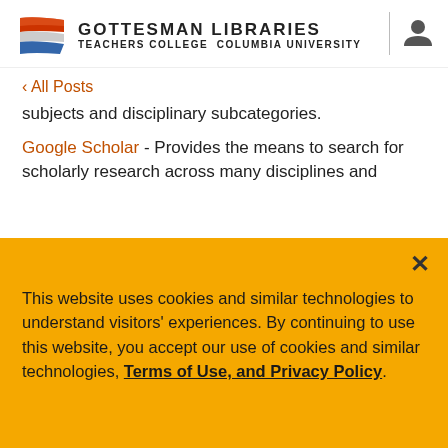GOTTESMAN LIBRARIES TEACHERS COLLEGE COLUMBIA UNIVERSITY
< All Posts
subjects and disciplinary subcategories.
Google Scholar - Provides the means to search for scholarly research across many disciplines and
This website uses cookies and similar technologies to understand visitors' experiences. By continuing to use this website, you accept our use of cookies and similar technologies, Terms of Use, and Privacy Policy.